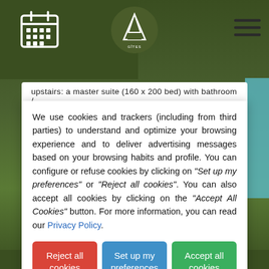[Figure (screenshot): Website header with dark green background showing a calendar icon on left, circular mountain logo in center, and hamburger menu icon on right]
upstairs: a master suite (160 x 200 bed) with bathroom /
We use cookies and trackers (including from third parties) to understand and optimize your browsing experience and to deliver advertising messages based on your browsing habits and profile. You can configure or refuse cookies by clicking on "Set up my preferences" or "Reject all cookies". You can also accept all cookies by clicking on the "Accept All Cookies" button. For more information, you can read our Privacy Policy.
Reject all cookies
Set up my preferences
Accept all cookies
Home   Accommodation   Table d'hôte